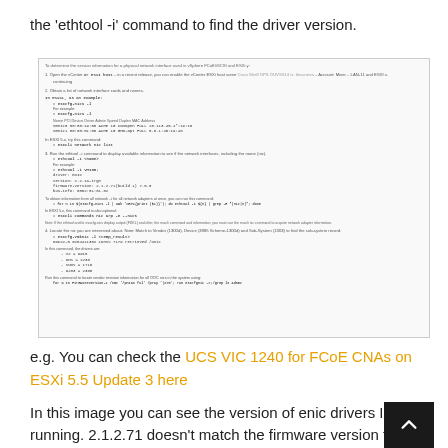the 'ethtool -i' command to find the driver version.
[Figure (screenshot): Screenshot of a technical document showing steps to determine version information for a physical network interface using ethtool commands on ESXi, including commands like 'ethtool -i <name>', example outputs showing driver: enic, version: 2.2.1a-irgn, firmware-version: 2.1.2.71(build 1), and steps to get driver information.]
e.g. You can check the UCS VIC 1240 for FCoE CNAs on ESXi 5.5 Update 3 here
In this image you can see the version of enic drivers I'm running. 2.1.2.71 doesn't match the firmware version that will